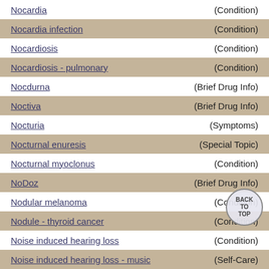Nocardia (Condition)
Nocardia infection (Condition)
Nocardiosis (Condition)
Nocardiosis - pulmonary (Condition)
Nocdurna (Brief Drug Info)
Noctiva (Brief Drug Info)
Nocturia (Symptoms)
Nocturnal enuresis (Special Topic)
Nocturnal myoclonus (Condition)
NoDoz (Brief Drug Info)
Nodular melanoma (Condition)
Nodule - thyroid cancer (Condition)
Noise induced hearing loss (Condition)
Noise induced hearing loss - music (Self-Care)